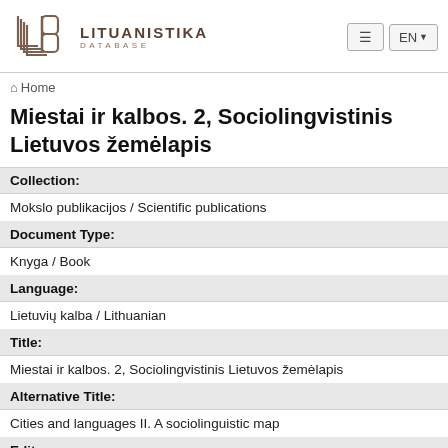Lituanistika Database
Home
Miestai ir kalbos. 2, Sociolingvistinis Lietuvos žemėlapis
| Collection: | Mokslo publikacijos / Scientific publications |
| Document Type: | Knyga / Book |
| Language: | Lietuvių kalba / Lithuanian |
| Title: | Miestai ir kalbos. 2, Sociolingvistinis Lietuvos žemėlapis |
| Alternative Title: | Cities and languages II. A sociolinguistic map |
| Editors: | Ramonienė, Meilutė, redagavimas [edt] |